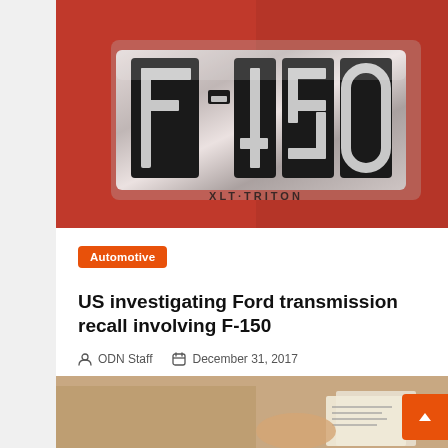[Figure (photo): Close-up photo of a red Ford F-150 truck with chrome F-150 XLT Triton badge on the side panel]
Automotive
US investigating Ford transmission recall involving F-150
ODN Staff   December 31, 2017
[Figure (photo): Partial photo at the bottom showing a person reviewing documents]